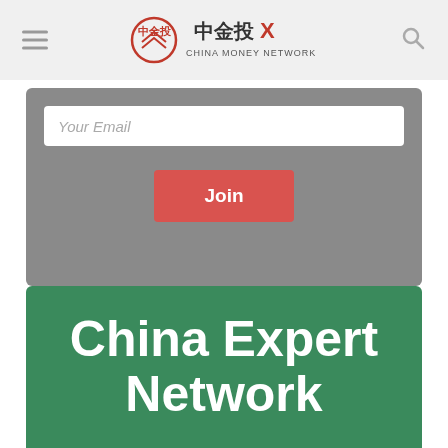中金投X CHINA MONEY NETWORK
Your Email
Join
[Figure (logo): China Expert Network green banner with white bold text reading 'China Expert Network']